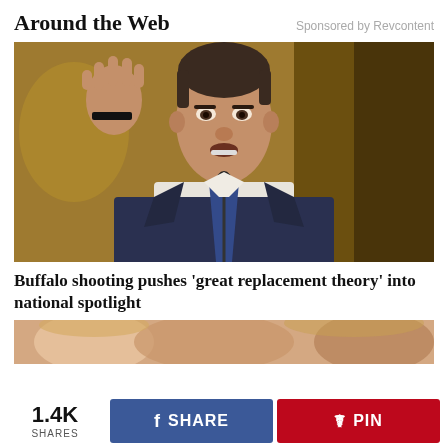Around the Web
Sponsored by Revcontent
[Figure (photo): A man in a dark suit and blue tie speaking at a microphone, gesturing with his right hand raised.]
Buffalo shooting pushes ‘great replacement theory’ into national spotlight
[Figure (photo): Partial image of people, cropped at the bottom of the page.]
1.4K SHARES
f SHARE
PIN